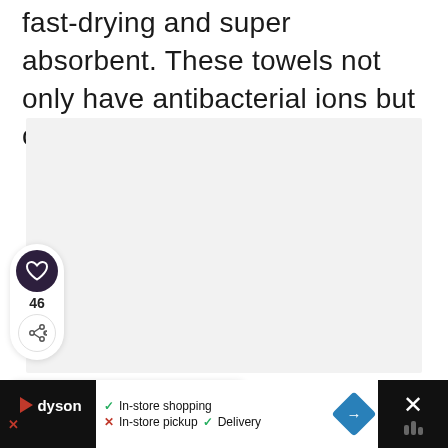fast-drying and super absorbent. These towels not only have antibacterial ions but come in cute patterns!
[Figure (photo): Light gray placeholder image area for a product photo]
[Figure (infographic): Social sidebar with heart/like button (46 likes) and share button]
WHAT'S NEXT → 26 Things You Can Only Bu...
[Figure (photo): British flag circle thumbnail]
dyson ✓ In-store shopping ✗ In-store pickup ✓ Delivery